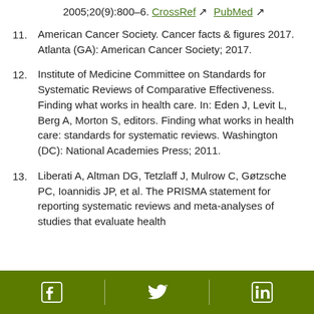(continuation) 2005;20(9):800–6. CrossRef PubMed
11. American Cancer Society. Cancer facts & figures 2017. Atlanta (GA): American Cancer Society; 2017.
12. Institute of Medicine Committee on Standards for Systematic Reviews of Comparative Effectiveness. Finding what works in health care. In: Eden J, Levit L, Berg A, Morton S, editors. Finding what works in health care: standards for systematic reviews. Washington (DC): National Academies Press; 2011.
13. Liberati A, Altman DG, Tetzlaff J, Mulrow C, Gøtzsche PC, Ioannidis JP, et al. The PRISMA statement for reporting systematic reviews and meta-analyses of studies that evaluate health
Facebook Twitter LinkedIn